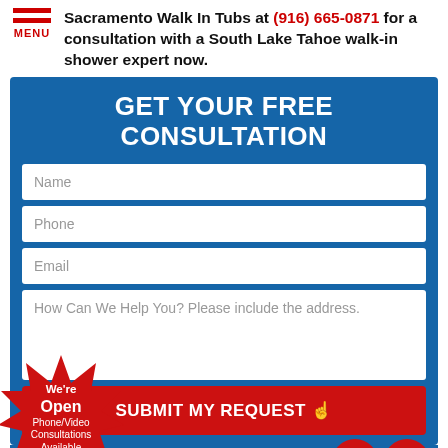Sacramento Walk In Tubs at (916) 665-0871 for a consultation with a South Lake Tahoe walk-in shower expert now.
GET YOUR FREE CONSULTATION
[Figure (screenshot): Contact form with fields: Name, Phone, Email, How Can We Help You? Please include the address., and a SUBMIT MY REQUEST button]
[Figure (other): Red starburst badge: We're Open Phone/Video Consultations Available]
Services